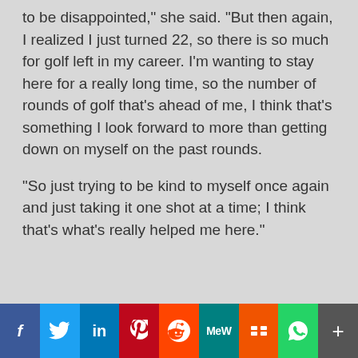to be disappointed," she said. "But then again, I realized I just turned 22, so there is so much for golf left in my career. I'm wanting to stay here for a really long time, so the number of rounds of golf that's ahead of me, I think that's something I look forward to more than getting down on myself on the past rounds.

"So just trying to be kind to myself once again and just taking it one shot at a time; I think that's what's really helped me here."
[Figure (infographic): Social media sharing bar with icons for Facebook, Twitter, LinkedIn, Pinterest, Reddit, MeWe, Mix, WhatsApp, and More (plus sign)]